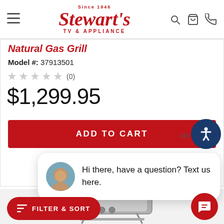Stewart's TV & APPLIANCE — Since 1946
Natural Gas Grill
Model #: 37913501
★★★★★ (0)
$1,299.95
ADD TO CART
Hi there, have a question? Text us here.
[Figure (photo): Weber natural gas grill product photo]
FILTER & SORT